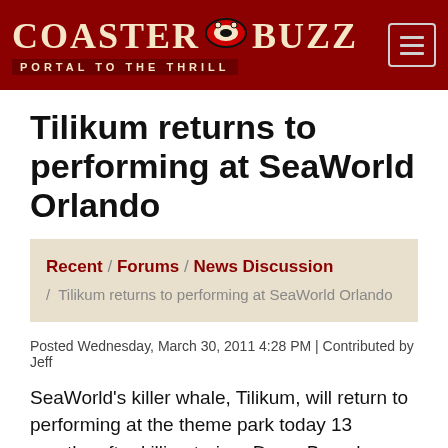CoasterBuzz — Portal to the Thrill
Tilikum returns to performing at SeaWorld Orlando
Recent / Forums / News Discussion / Tilikum returns to performing at SeaWorld Orlando
Posted Wednesday, March 30, 2011 4:28 PM | Contributed by Jeff
SeaWorld's killer whale, Tilikum, will return to performing at the theme park today 13 months after killing trainer Dawn Brancheau. In a statement, executives from SeaWorld defended Tilikum's reentry into the